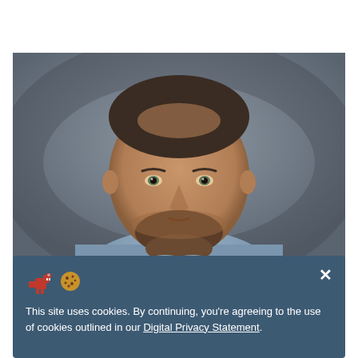[Figure (photo): Headshot portrait of a middle-aged man with short dark hair and a beard, wearing a light blue shirt, photographed against a gray background.]
This site uses cookies. By continuing, you're agreeing to the use of cookies outlined in our Digital Privacy Statement.